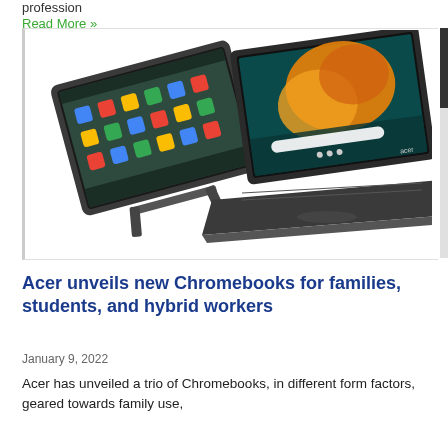profession
Read More »
[Figure (photo): Two Acer Chromebook laptops shown at angles — one in tablet/tent mode showing the Chrome OS home screen with app icons, and one in laptop mode with an orange/teal abstract wallpaper.]
Acer unveils new Chromebooks for families, students, and hybrid workers
January 9, 2022
Acer has unveiled a trio of Chromebooks, in different form factors, geared towards family use,